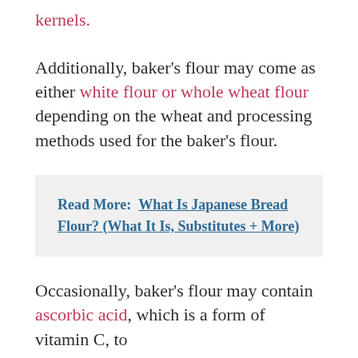kernels.
Additionally, baker’s flour may come as either white flour or whole wheat flour depending on the wheat and processing methods used for the baker’s flour.
Read More: What Is Japanese Bread Flour? (What It Is, Substitutes + More)
Occasionally, baker’s flour may contain ascorbic acid, which is a form of vitamin C, to